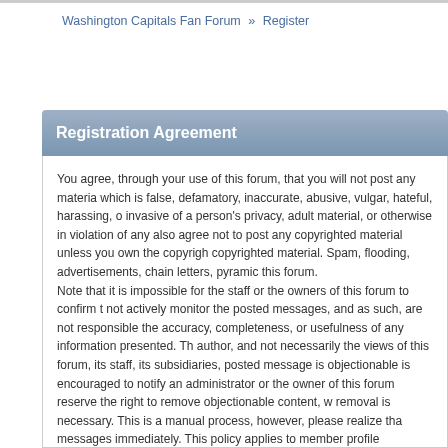Washington Capitals Fan Forum » Register
Registration Agreement
You agree, through your use of this forum, that you will not post any materia which is false, defamatory, inaccurate, abusive, vulgar, hateful, harassing, o invasive of a person's privacy, adult material, or otherwise in violation of any also agree not to post any copyrighted material unless you own the copyrigh copyrighted material. Spam, flooding, advertisements, chain letters, pyramic this forum.
Note that it is impossible for the staff or the owners of this forum to confirm t not actively monitor the posted messages, and as such, are not responsible the accuracy, completeness, or usefulness of any information presented. Th author, and not necessarily the views of this forum, its staff, its subsidiaries, posted message is objectionable is encouraged to notify an administrator or the owner of this forum reserve the right to remove objectionable content, w removal is necessary. This is a manual process, however, please realize tha messages immediately. This policy applies to member profile information as
You remain solely responsible for the content of your posted messages. Fur harmless the owners of this forum, any related websites to this forum, its sta also reserve the right to reveal your identity (or any other related informatio complaint or legal action arising from any situation caused by your use of th
You have the ability, as you register, to choose your username. We advise th